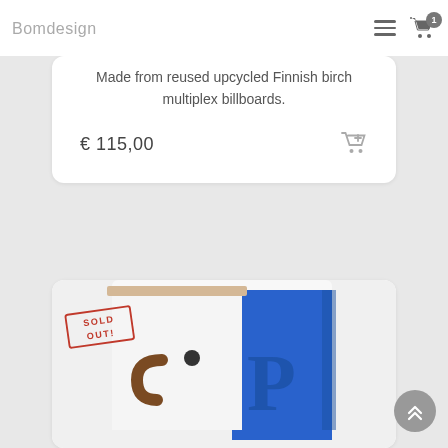Bomdesign
Made from reused upcycled Finnish birch multiplex billboards.
€ 115,00
[Figure (screenshot): Product image showing a wooden box-shaped character made from billboard material with a blue and white finish, a brown hook/arm and small circular eye, with a 'SOLD OUT' stamp overlay]
[Figure (other): Back to top button - circular grey button with upward double chevron arrows]